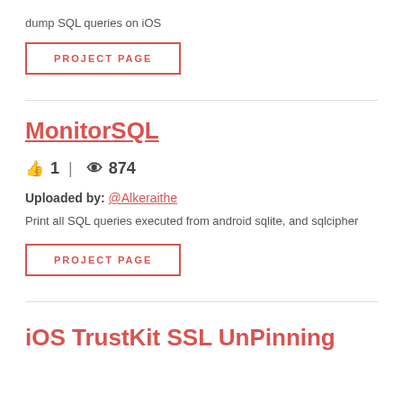dump SQL queries on iOS
PROJECT PAGE
MonitorSQL
👍 1 | 👁 874
Uploaded by: @Alkeraithe
Print all SQL queries executed from android sqlite, and sqlcipher
PROJECT PAGE
iOS TrustKit SSL UnPinning